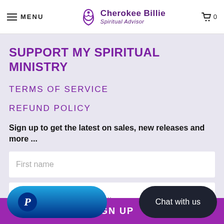MENU | Cherokee Billie Spiritual Advisor | 0
SUPPORT MY SPIRITUAL MINISTRY
TERMS OF SERVICE
REFUND POLICY
Sign up to get the latest on sales, new releases and more ...
First name
Enter your email address...
SIGN UP